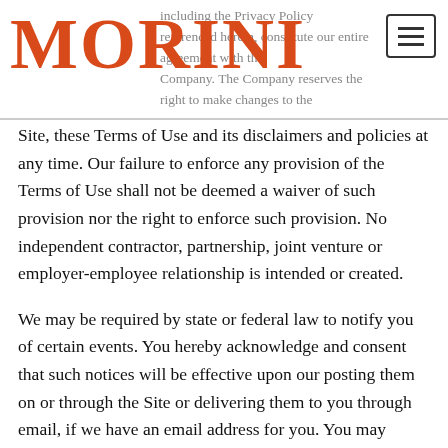MORINI — including the Privacy Policy referenced herein, constitute our entire agreement with the Company. The Company reserves the right to make changes to the
Site, these Terms of Use and its disclaimers and policies at any time. Our failure to enforce any provision of the Terms of Use shall not be deemed a waiver of such provision nor the right to enforce such provision. No independent contractor, partnership, joint venture or employer-employee relationship is intended or created.
We may be required by state or federal law to notify you of certain events. You hereby acknowledge and consent that such notices will be effective upon our posting them on or through the Site or delivering them to you through email, if we have an email address for you. You may update your email address by visiting the Site where you have provided contact information. If you do not provide us with accurate information, we cannot be held liable if we fail to notify you. You have the right to request that we provide such notices to you in paper format, and may do so by contacting us at info@altamareagroup.com. If you are a California resident, you may have this same information emailed to you by sending a letter